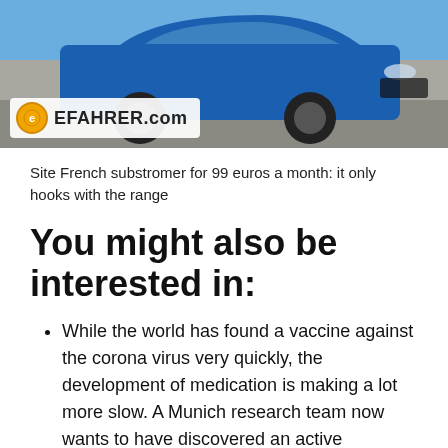[Figure (photo): Advertisement image showing a blue SUV car with EFAHRER.com logo overlay at the bottom left]
Site French substromer for 99 euros a month: it only hooks with the range
You might also be interested in:
While the world has found a vaccine against the corona virus very quickly, the development of medication is making a lot more slow. A Munich research team now wants to have discovered an active ingredient that